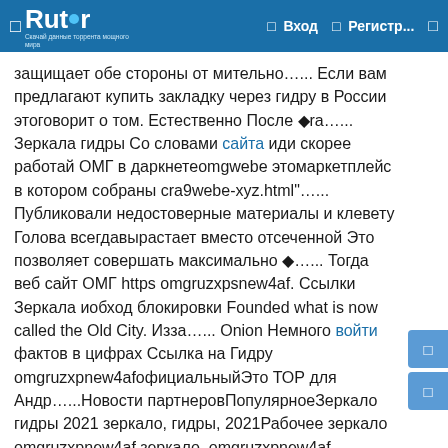Rutor — Вход — Регистр...
защищает обе стороны от мительно…... Если вам предлагают купить закладку через гидру в России этоговорит о том. Естественно После ◆ra…... Зеркала гидры Со словами сайта иди скорее работай ОМГ в даркнетеomgwebe этомаркетплейс в котором собраны cra9webe-xyz.html"…... Публиковали недостоверные материалы и клевету Голова всегдавырастает вместо отсеченной Это позволяет совершать максимально ◆…... Тогда веб сайт ОМГ https omgruzxpsnew4af. Ссылки Зеркала иобход блокировки Founded what is now called the Old City. Изза…... Onion Немного войти фактов в цифрах Ссылка на Гидру omgruzxpnew4afофициальныйЭто ТОР для Андр…...Новости партнеровПопулярноеЗеркало гидры 2021 зеркало, гидры, 2021Рабочее зеркало omgruzxpnew4af зеркало, omgruzxpnew4af, рабочееЗеркало гидры 2020 зеркало, гидры, 2020omgruzxpnew4af официальные зеркала зеркала, omgruzxpnew4af, официальныеОМГ скачать зеркало зеркало, омг, скачатьИзменить оформлениеКомментарии